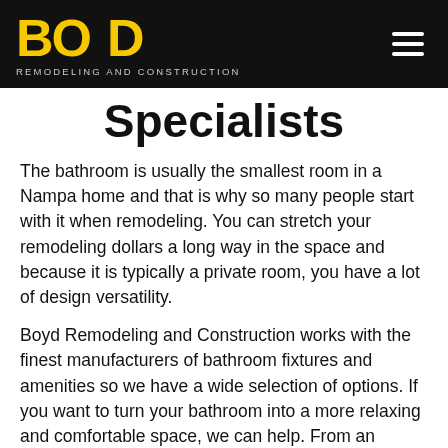BOYD REMODELING AND CONSTRUCTION
Specialists
The bathroom is usually the smallest room in a Nampa home and that is why so many people start with it when remodeling. You can stretch your remodeling dollars a long way in the space and because it is typically a private room, you have a lot of design versatility.
Boyd Remodeling and Construction works with the finest manufacturers of bathroom fixtures and amenities so we have a wide selection of options. If you want to turn your bathroom into a more relaxing and comfortable space, we can help. From an additional sink for more elbow room to a state of the art tub made of